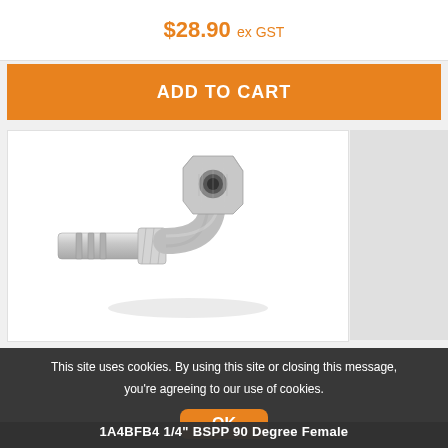$28.90 ex GST
ADD TO CART
[Figure (photo): Stainless steel 90 degree female hose fitting / hydraulic swivel adapter, shown at an angle against a white background]
This site uses cookies. By using this site or closing this message, you're agreeing to our use of cookies.
OK
1A4BFB4 1/4" BSPP 90 Degree Female